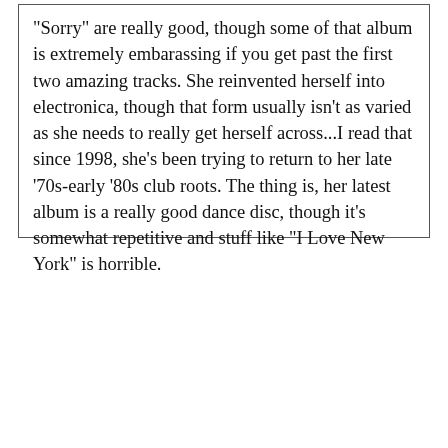"Sorry" are really good, though some of that album is extremely embarassing if you get past the first two amazing tracks. She reinvented herself into electronica, though that form usually isn't as varied as she needs to really get herself across...I read that since 1998, she's been trying to return to her late '70s-early '80s club roots. The thing is, her latest album is a really good dance disc, though it's somewhat repetitive and stuff like "I Love New York" is horrible.